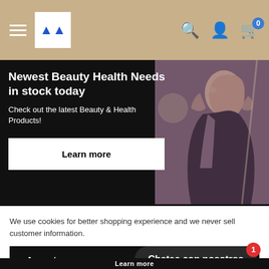Navigation header with hamburger menu, logo, search, account, and cart icons
Newest Beauty Health Needs in stock today
Check out the latest Beauty & Health Products!
[Figure (photo): Fashion photo of a woman in a dark floral dress posing outdoors]
We use cookies for better shopping experience and we never sell customer information.
Accept
Chatea con nosotros
Learn more